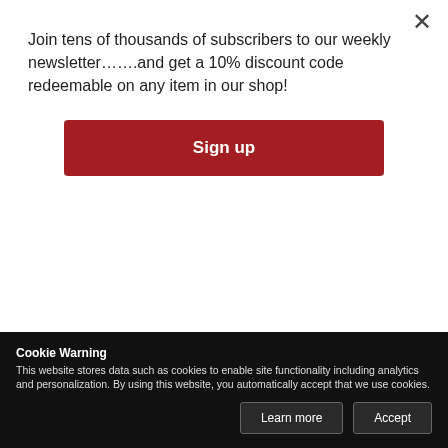Join tens of thousands of subscribers to our weekly newsletter…….and get a 10% discount code redeemable on any item in our shop!
Sign up
MIGUEL DÍAZ DÍAZ
MEXICO - FINANCE
Insurance
CEO, Prudential Insurance Mexico
MARIO VELA
Cookie Warning
This website stores data such as cookies to enable site functionality including analytics and personalization. By using this website, you automatically accept that we use cookies.
Learn more
Accept